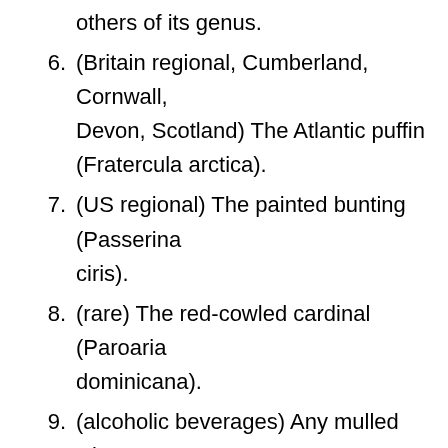others of its genus.
6. (Britain regional, Cumberland, Cornwall, Devon, Scotland) The Atlantic puffin (Fratercula arctica).
7. (US regional) The painted bunting (Passerina ciris).
8. (rare) The red-cowled cardinal (Paroaria dominicana).
9. (alcoholic beverages) Any mulled wine (traditionally including tokay) considered similar and superior to bishop.
10. (Russian Orthodoxy) Alternative form of pop, a